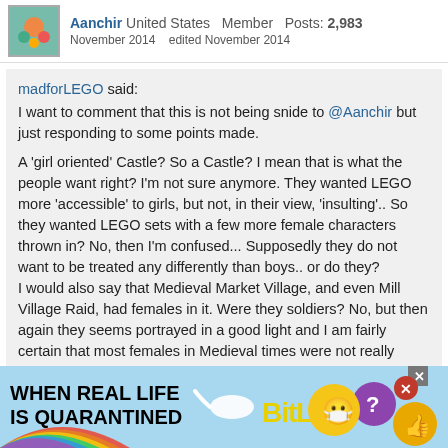Aanchir  United States  Member  Posts: 2,983
November 2014   edited November 2014
madforLEGO said:
I want to comment that this is not being snide to @Aanchir but just responding to some points made.

A 'girl oriented' Castle? So a Castle? I mean that is what the people want right? I'm not sure anymore. They wanted LEGO more 'accessible' to girls, but not, in their view, 'insulting'.. So they wanted LEGO sets with a few more female characters thrown in? No, then I'm confused... Supposedly they do not want to be treated any differently than boys.. or do they?
I would also say that Medieval Market Village, and even Mill Village Raid, had females in it. Were they soldiers? No, but then again they seems portrayed in a good light and I am fairly certain that most females in Medieval times were not really favored well in the populous. Does this mean Castle now has to go away now, or is LEGO needing to re-write history? I'm sure there are those sadly that would suggest that. I guess they could do the Amazon's as a line and
[Figure (screenshot): BitLife advertisement banner at bottom of page with rainbow, sperm graphic, BitLife logo, emoji icons]